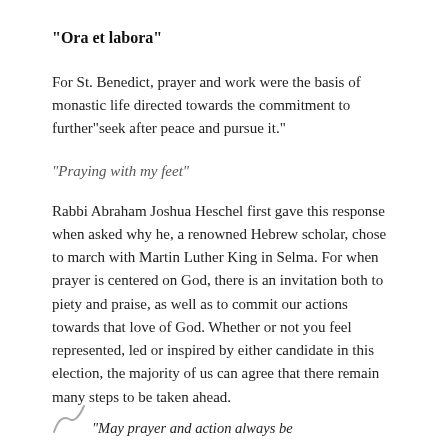“Ora et labora”
For St. Benedict, prayer and work were the basis of monastic life directed towards the commitment to further “seek after peace and pursue it.”
“Praying with my feet”
Rabbi Abraham Joshua Heschel first gave this response when asked why he, a renowned Hebrew scholar, chose to march with Martin Luther King in Selma. For when prayer is centered on God, there is an invitation both to piety and praise, as well as to commit our actions towards that love of God. Whether or not you feel represented, led or inspired by either candidate in this election, the majority of us can agree that there remain many steps to be taken ahead.
“May prayer and action always be